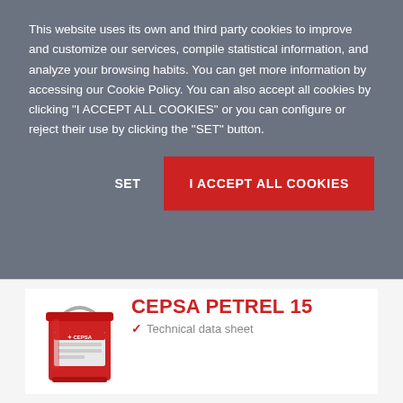This website uses its own and third party cookies to improve and customize our services, compile statistical information, and analyze your browsing habits. You can get more information by accessing our Cookie Policy. You can also accept all cookies by clicking "I ACCEPT ALL COOKIES" or you can configure or reject their use by clicking the "SET" button.
SET
I ACCEPT ALL COOKIES
[Figure (photo): Red CEPSA branded lubricant bucket/pail product container]
CEPSA PETREL 15
Technical data sheet